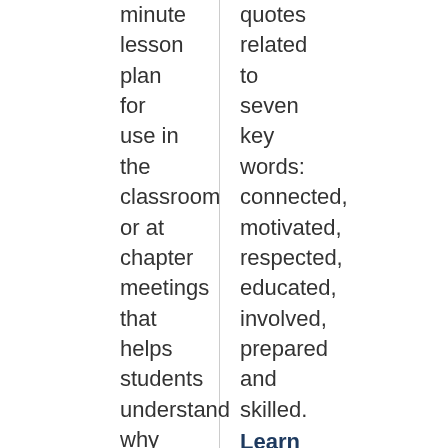minute lesson plan for use in the classroom or at chapter meetings that helps students understand why "there's never been a better time to be skilled" and
quotes related to seven key words: connected, motivated, respected, educated, involved, prepared and skilled. Learn More